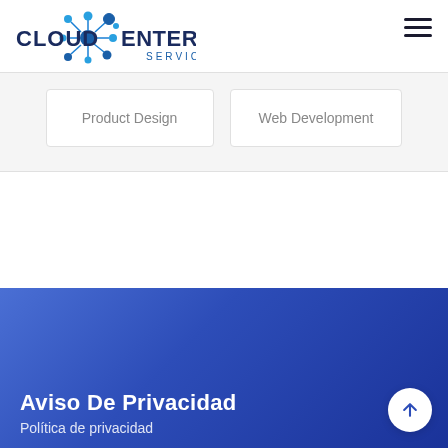[Figure (logo): Cloud Enterprise Services logo with blue network/nodes graphic and dark blue text]
[Figure (other): Hamburger menu icon (three horizontal lines)]
Product Design
Web Development
Aviso De Privacidad
Política de privacidad